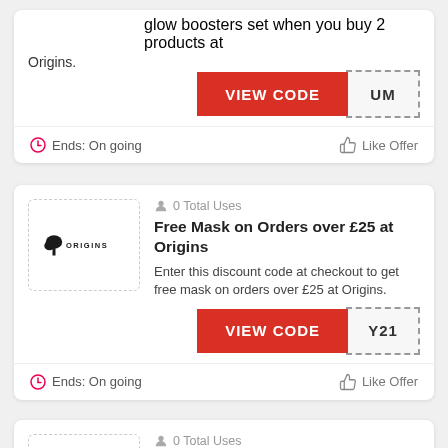glow boosters set when you buy 2 products at Origins.
VIEW CODE UM
Ends: On going
Like Offer
0 Total Uses
Free Mask on Orders over £25 at Origins
Enter this discount code at checkout to get free mask on orders over £25 at Origins.
VIEW CODE Y21
Ends: On going
Like Offer
0 Total Uses
Free Mask on Orders over £25 at